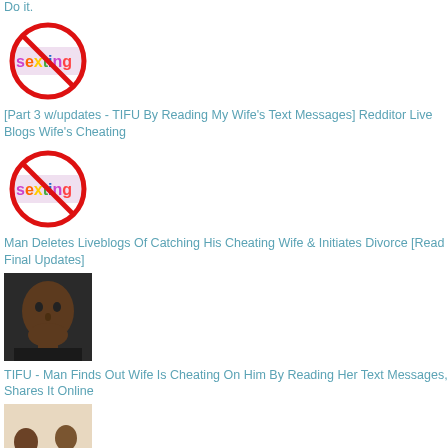Do it.
[Figure (illustration): No sexting icon - circle with diagonal red line over colorful 'sexting' text on white background]
[Part 3 w/updates - TIFU By Reading My Wife's Text Messages] Redditor Live Blogs Wife's Cheating
[Figure (illustration): No sexting icon - circle with diagonal red line over colorful 'sexting' text on white background]
Man Deletes Liveblogs Of Catching His Cheating Wife & Initiates Divorce [Read Final Updates]
[Figure (photo): Black man looking distressed, close-up portrait, dark background]
TIFU - Man Finds Out Wife Is Cheating On Him By Reading Her Text Messages, Shares It Online
[Figure (photo): Two people sitting together looking at papers, man and woman, light blue shirt]